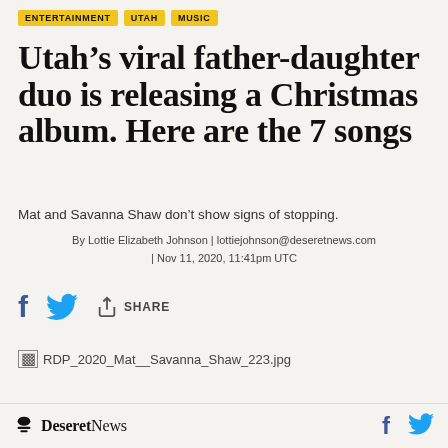ENTERTAINMENT   UTAH   MUSIC
Utah’s viral father-daughter duo is releasing a Christmas album. Here are the 7 songs
Mat and Savanna Shaw don’t show signs of stopping.
By Lottie Elizabeth Johnson | lottiejohnson@deseretnews.com | Nov 11, 2020, 11:41pm UTC
[Figure (other): Social sharing icons: Facebook, Twitter, and share button with label SHARE]
[Figure (photo): Broken image placeholder: RDP_2020_Mat__Savanna_Shaw_223.jpg]
Deseret News — Facebook and Twitter icons